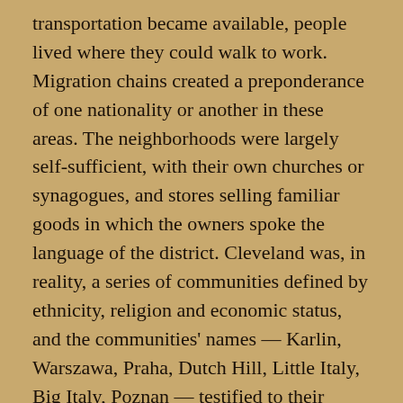transportation became available, people lived where they could walk to work. Migration chains created a preponderance of one nationality or another in these areas. The neighborhoods were largely self-sufficient, with their own churches or synagogues, and stores selling familiar goods in which the owners spoke the language of the district. Cleveland was, in reality, a series of communities defined by ethnicity, religion and economic status, and the communities' names — Karlin, Warszawa, Praha, Dutch Hill, Little Italy, Big Italy, Poznan — testified to their particularistic identities. To many observers, they were foreign entities sitting within an American city.